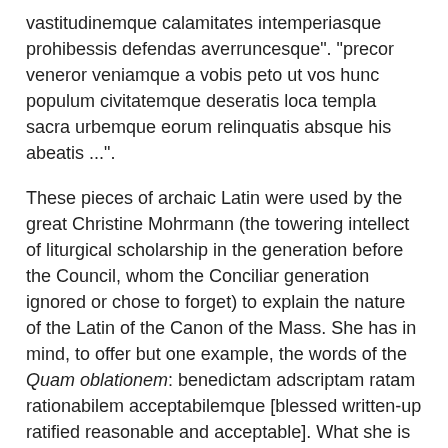vastitudinemque calamitates intemperiasque prohibessis defendas averruncesque". "precor veneror veniamque a vobis peto ut vos hunc populum civitatemque deseratis loca templa sacra urbemque eorum relinquatis absque his abeatis ...".
These pieces of archaic Latin were used by the great Christine Mohrmann (the towering intellect of liturgical scholarship in the generation before the Council, whom the Conciliar generation ignored or chose to forget) to explain the nature of the Latin of the Canon of the Mass. She has in mind, to offer but one example, the words of the Quam oblationem: benedictam adscriptam ratam rationabilem acceptabilemque [blessed written-up ratified reasonable and acceptable]. What she is demonstrating is that there is nothing vernacular about such language, nothing simple and clear, nothing that the-man-on-the-top-of-a-Clapham-or-Aventine-omnibus could understand.
Mohrmann argues that Christian liturgical Latin is a hieratic dialect deliberately created in the image of the liturgical Latin of pagan Rome centuries before Christ. The rhythmically